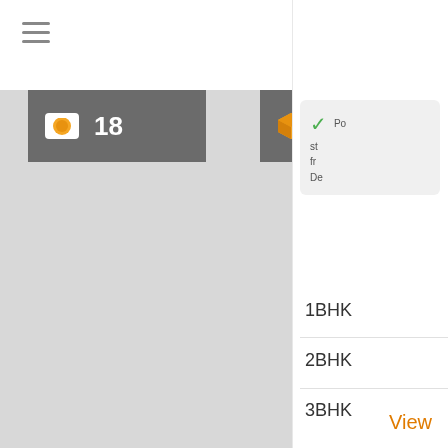[Figure (screenshot): Mobile app UI screenshot showing a property listing app. Top white bar with hamburger menu icon. Below is a grey content area. Two dark grey badges visible: one showing a camera icon with '18' and another showing a 3D cube icon with '3D'. On the right side is a dropdown/panel showing a popup card with a green checkmark and truncated text, followed by list items: 1BHK, 2BHK, 3BHK, 4BHK separated by dividers, and an orange 'View' link at the bottom.]